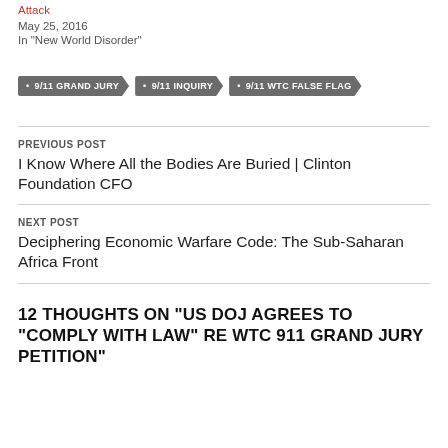Attack
May 25, 2016
In "New World Disorder"
9/11 GRAND JURY
9/11 INQUIRY
9/11 WTC FALSE FLAG
PREVIOUS POST
I Know Where All the Bodies Are Buried | Clinton Foundation CFO
NEXT POST
Deciphering Economic Warfare Code: The Sub-Saharan Africa Front
12 THOUGHTS ON “US DOJ AGREES TO “COMPLY WITH LAW” RE WTC 911 GRAND JURY PETITION”